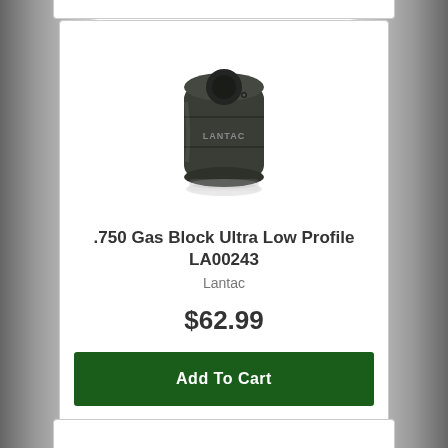[Figure (photo): Dark olive/black cylindrical gas block component with LANTAC branding, shown with slight reflection below]
.750 Gas Block Ultra Low Profile LA00243
Lantac
$62.99
Add To Cart